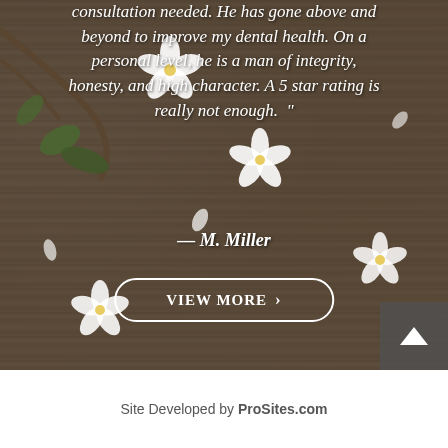[Figure (photo): Background photo of weathered wooden planks with white cherry blossoms and green leaves scattered across, serving as backdrop for a patient testimonial quote.]
consultation needed. He has gone above and beyond to improve my dental health. On a personal level, he is a man of integrity, honesty, and high character. A 5 star rating is really not enough. "
— M. Miller
VIEW MORE ›
Site Developed by ProSites.com